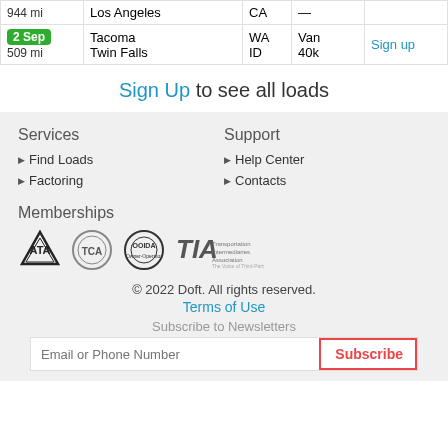|  | City | State | Type | Action |
| --- | --- | --- | --- | --- |
| 944 mi | Los Angeles | CA | — |  |
| 2 Sep
509 mi | Tacoma
Twin Falls | WA
ID | Van
40k | Sign up |
Sign Up to see all loads
Services
Find Loads
Factoring
Support
Help Center
Contacts
Memberships
[Figure (logo): Membership logos: ATA, TCA, OOIDA, TIA]
© 2022 Doft. All rights reserved.
Terms of Use
Subscribe to Newsletters
Email or Phone Number | Subscribe